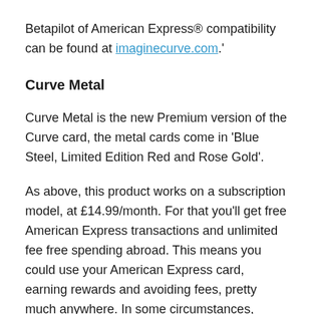Betapilot of American Express® compatibility can be found at imaginecurve.com.'
Curve Metal
Curve Metal is the new Premium version of the Curve card, the metal cards come in 'Blue Steel, Limited Edition Red and Rose Gold'.
As above, this product works on a subscription model, at £14.99/month. For that you'll get free American Express transactions and unlimited fee free spending abroad. This means you could use your American Express card, earning rewards and avoiding fees, pretty much anywhere. In some circumstances, particularly when working towards